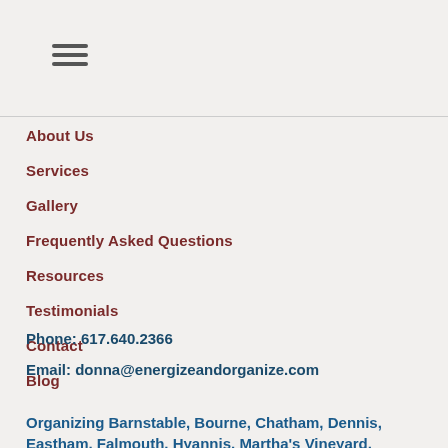[Figure (other): Hamburger menu icon with three horizontal lines]
About Us
Services
Gallery
Frequently Asked Questions
Resources
Testimonials
Contact
Blog
Phone:  617.640.2366
Email:  donna@energizeandorganize.com
Organizing  Barnstable,  Bourne,  Chatham,  Dennis, Eastham,  Falmouth,  Hyannis,  Martha's  Vineyard,